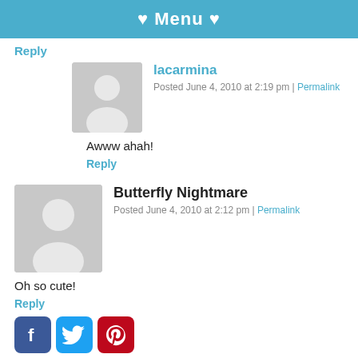♥ Menu ♥
Reply
lacarmina
Posted June 4, 2010 at 2:19 pm | Permalink
Awww ahah!
Reply
Butterfly Nightmare
Posted June 4, 2010 at 2:12 pm | Permalink
Oh so cute!
Reply
[Figure (infographic): Social media share icons: Facebook, Twitter, Pinterest, LinkedIn]